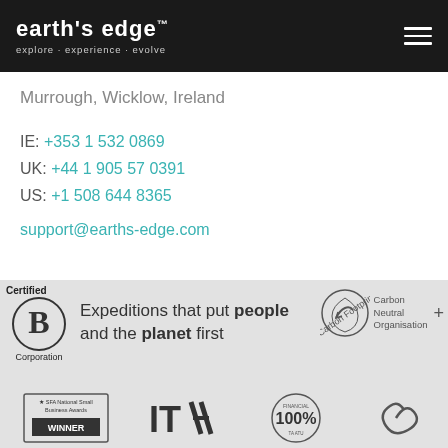EARTH'S EDGE™ explore · experience · evolve
Murrough, Wicklow, Ireland
IE: +353 1 532 0869
UK: +44 1 905 57 0391
US: +1 508 644 8365
support@earths-edge.com
[Figure (logo): Certified B Corporation logo with circle and B mark]
Expeditions that put people and the planet first
[Figure (logo): Carbon Footprint Standard - Carbon Neutral Organisation logo]
[Figure (logo): SFA National Small Business Awards Winner logo]
[Figure (logo): ITAA logo]
[Figure (logo): Financial 100% logo]
[Figure (logo): Swirl/spiral logo]